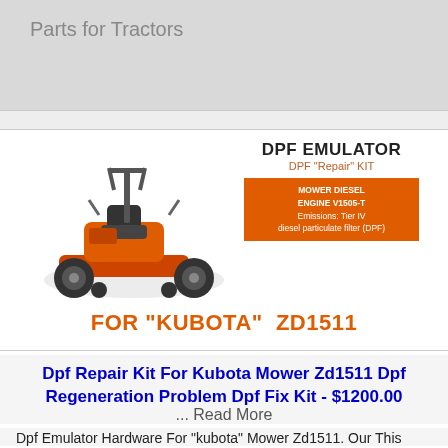Parts for Tractors
[Figure (photo): Product image of a Kubota ZD1511 orange zero-turn mower with DPF Emulator / DPF Repair KIT overlay label, orange badge showing MOWER DIESEL ENGINE V1505-T, Emissions: Tier IV, diesel particulate filter (DPF), and FOR 'KUBOTA' ZD1511 text below]
Dpf Repair Kit For Kubota Mower Zd1511 Dpf Regeneration Problem Dpf Fix Kit - $1200.00
... Read More
Dpf Emulator Hardware For "kubota" Mower Zd1511. Our This